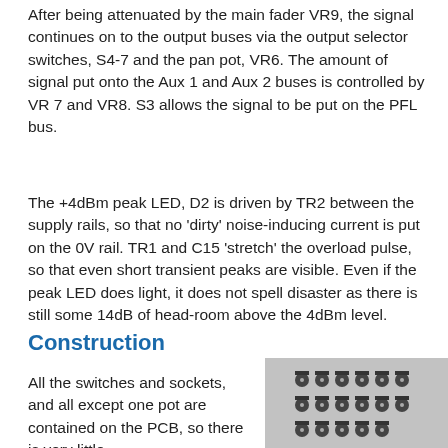After being attenuated by the main fader VR9, the signal continues on to the output buses via the output selector switches, S4-7 and the pan pot, VR6. The amount of signal put onto the Aux 1 and Aux 2 buses is controlled by VR 7 and VR8. S3 allows the signal to be put on the PFL bus.
The +4dBm peak LED, D2 is driven by TR2 between the supply rails, so that no 'dirty' noise-inducing current is put on the 0V rail. TR1 and C15 'stretch' the overload pulse, so that even short transient peaks are visible. Even if the peak LED does light, it does not spell disaster as there is still some 14dB of head-room above the 4dBm level.
Construction
All the switches and sockets, and all except one pot are contained on the PCB, so there is very little
[Figure (photo): Grayscale photograph of electronic components on a PCB, showing multiple potentiometers or rotary switches arranged in rows.]